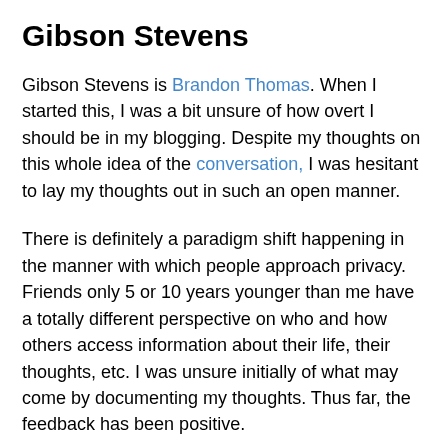Gibson Stevens
Gibson Stevens is Brandon Thomas. When I started this, I was a bit unsure of how overt I should be in my blogging. Despite my thoughts on this whole idea of the conversation, I was hesitant to lay my thoughts out in such an open manner.
There is definitely a paradigm shift happening in the manner with which people approach privacy. Friends only 5 or 10 years younger than me have a totally different perspective on who and how others access information about their life, their thoughts, etc. I was unsure initially of what may come by documenting my thoughts. Thus far, the feedback has been positive.
My motivation for keeping this blog is two fold. First, I see tremendous opportunity to improve the methods campaigns (and marketers) are using to reach out to their constituency. I believe those that have been in the game for years are loosing site of the forest among the trees, and apparent opportunities are being missed. My varied background